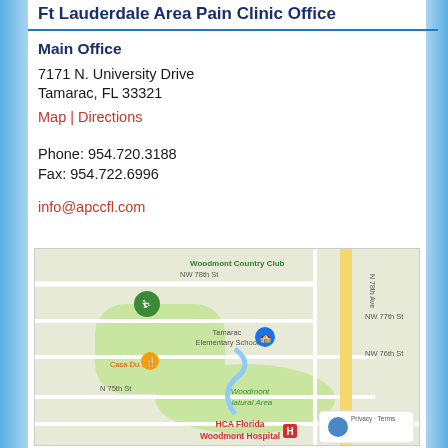Ft Lauderdale Area Pain Clinic Office
Main Office
7171 N. University Drive
Tamarac, FL 33321
Map | Directions
Phone: 954.720.3188
Fax: 954.722.6996
info@apccfl.com
[Figure (map): Google Maps view showing Tamarac, FL area near 7171 N University Drive, featuring Woodmont Country Club, Tamarac Elementary School, Casa Du Sole restaurant, Woodmont Natural Area, and HCA Florida Woodmont Hospital. Streets visible include NW 78th St, NW 77th St, NW 76th St, NW 75th St.]